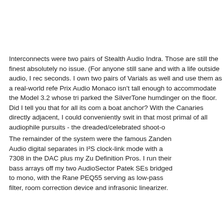Interconnects were two pairs of Stealth Audio Indra. Those are still the finest absolutely no issue. (For anyone still sane and with a life outside audio, I rec seconds. I own two pairs of Varials as well and use them as a real-world refe Prix Audio Monaco isn't tall enough to accommodate the Model 3.2 whose tri parked the SilverTone humdinger on the floor. Did I tell you that for all its com a boat anchor? With the Canaries directly adjacent, I could conveniently swit in that most primal of all audiophile pursuits - the dreaded/celebrated shoot-o
The remainder of the system were the famous Zanden Audio digital separates in I²S clock-link mode with a 7308 in the DAC plus my Zu Definition Pros. I run their bass arrays off my two AudioSector Patek SEs bridged to mono, with the Rane PEQ55 serving as low-pass filter, room correction device and infrasonic linearizer.